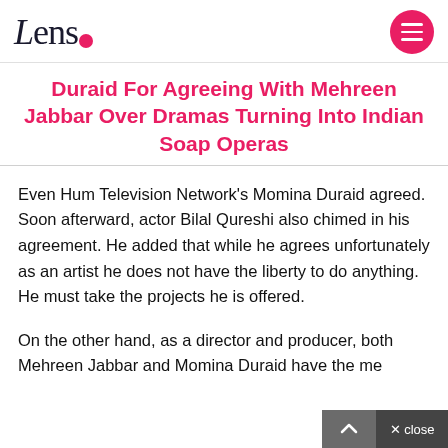Lens
Duraid For Agreeing With Mehreen Jabbar Over Dramas Turning Into Indian Soap Operas
Even Hum Television Network’s Momina Duraid agreed. Soon afterward, actor Bilal Qureshi also chimed in his agreement. He added that while he agrees unfortunately as an artist he does not have the liberty to do anything. He must take the projects he is offered.
On the other hand, as a director and producer, both Mehreen Jabbar and Momina Duraid have the me…